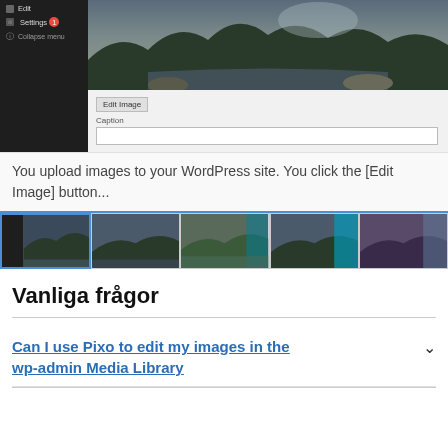[Figure (screenshot): WordPress media library screenshot showing sidebar menu with Edit, Settings (badge 1), Collapse menu items on dark background, and a landscape photo with Edit Image button and Caption field below]
You upload images to your WordPress site. You click the [Edit Image] button...
[Figure (screenshot): Strip of 5 thumbnail screenshots showing the Pixo image editor interface with landscape photos at various editing stages]
Vanliga frågor
Can I use Pixo to edit my images in the wp-admin Media Library